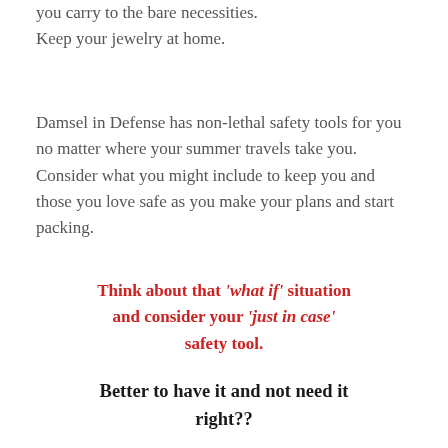you carry to the bare necessities. Keep your jewelry at home.
Damsel in Defense has non-lethal safety tools for you no matter where your summer travels take you. Consider what you might include to keep you and those you love safe as you make your plans and start packing.
Think about that 'what if' situation and consider your 'just in case' safety tool.
Better to have it and not need it right??